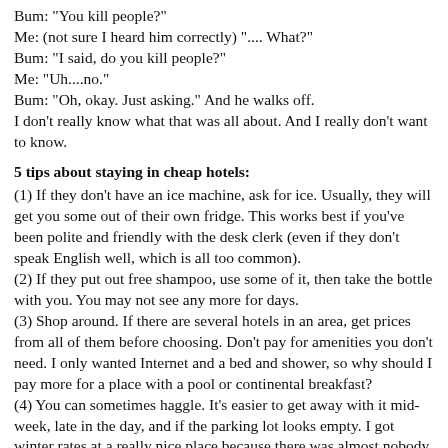Bum: "You kill people?"
Me: (not sure I heard him correctly) ".... What?"
Bum: "I said, do you kill people?"
Me: "Uh....no."
Bum: "Oh, okay. Just asking." And he walks off.
I don't really know what that was all about. And I really don't want to know.
5 tips about staying in cheap hotels:
(1) If they don't have an ice machine, ask for ice. Usually, they will get you some out of their own fridge. This works best if you've been polite and friendly with the desk clerk (even if they don't speak English well, which is all too common).
(2) If they put out free shampoo, use some of it, then take the bottle with you. You may not see any more for days.
(3) Shop around. If there are several hotels in an area, get prices from all of them before choosing. Don't pay for amenities you don't need. I only wanted Internet and a bed and shower, so why should I pay more for a place with a pool or continental breakfast?
(4) You can sometimes haggle. It's easier to get away with it mid-week, late in the day, and if the parking lot looks empty. I got winter rates at a really nice place because there was almost nobody there that night and they didn't want to let me get away. Saying I was heading off to a campground also saved me money on several occasions. Oh, and if you do haggle, don't expect to get a